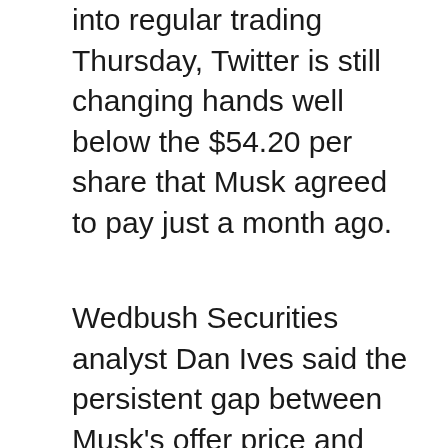Even assuming the share price rise continues into regular trading Thursday, Twitter is still changing hands well below the $54.20 per share that Musk agreed to pay just a month ago.
Wedbush Securities analyst Dan Ives said the persistent gap between Musk's offer price and Twitter's stock price indicates that most investors still believe the billionaire will walk away from the deal unless the company agrees to a lower price. Twitter's board has so far insisted it won't do that.
Earlier this week, Ives estimated that there was a 60% chance that Musk would call off the Twitter deal and pay a $1 billion breakup fee, risking a potential lawsuit by the company. With